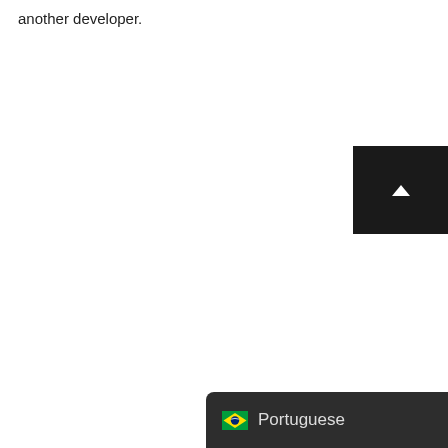another developer.
[Figure (screenshot): Dark scroll-to-top button with upward chevron arrow, positioned at bottom-right corner]
[Figure (screenshot): Dark rounded language selector widget showing Brazilian flag icon and 'Portuguese' text]